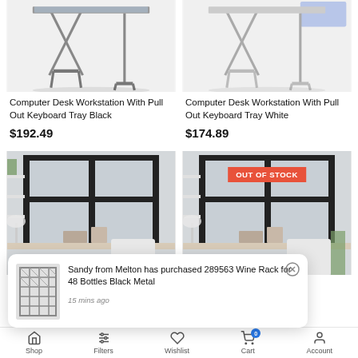[Figure (photo): Computer desk workstation with pull-out keyboard tray, black, partial product image top-left]
[Figure (photo): Computer desk workstation with pull-out keyboard tray, white, partial product image top-right]
Computer Desk Workstation With Pull Out Keyboard Tray Black
$192.49
Computer Desk Workstation With Pull Out Keyboard Tray White
$174.89
[Figure (photo): Office room interior with white desk, shelves, large window — left product]
[Figure (photo): Office room interior with white desk, shelves, large window — right product, OUT OF STOCK]
OUT OF STOCK
[Figure (photo): Toast notification showing wine rack product image]
Sandy from Melton has purchased 289563 Wine Rack for 48 Bottles Black Metal
15 mins ago
Shop   Filters   Wishlist   Cart   Account